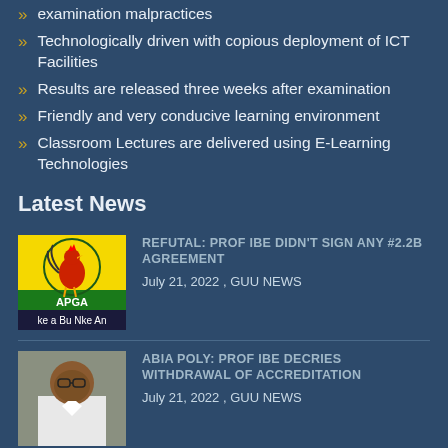examination malpractices
Technologically driven with copious deployment of ICT Facilities
Results are released three weeks after examination
Friendly and very conducive learning environment
Classroom Lectures are delivered using E-Learning Technologies
Latest News
[Figure (logo): APGA (All Progressives Grand Alliance) logo with rooster on yellow and green background, text 'ke a Bu Nke An']
REFUTAL: PROF IBE DIDN'T SIGN ANY #2.2B AGREEMENT
July 21, 2022 , GUU NEWS
[Figure (photo): Photo of a man in white clothing, presumably Prof Ibe]
ABIA POLY: PROF IBE DECRIES WITHDRAWAL OF ACCREDITATION
July 21, 2022 , GUU NEWS